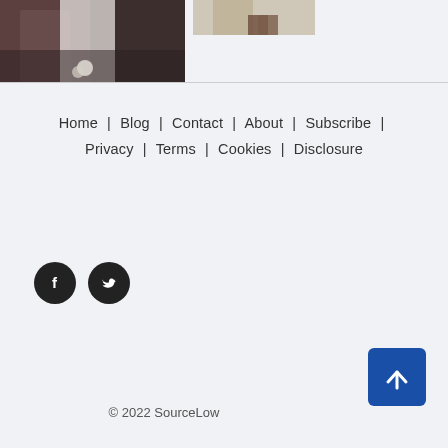[Figure (photo): Two photos side by side at top: left photo shows a bride and groom holding flowers, right photo shows a person's lower body/legs walking]
Home | Blog | Contact | About | Subscribe | Privacy | Terms | Cookies | Disclosure
[Figure (other): Facebook and Twitter social media icon buttons (dark circular icons)]
[Figure (other): Blue scroll-to-top button with upward arrow]
© 2022 SourceLow